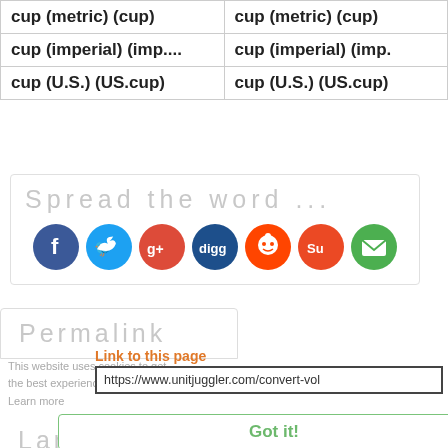| cup (metric) (cup) | cup (metric) (cup) |
| cup (imperial) (imp.... | cup (imperial) (imp. |
| cup (U.S.) (US.cup) | cup (U.S.) (US.cup) |
Spread the word ...
[Figure (infographic): Social sharing icons: Facebook (blue circle), Twitter (light blue circle), Google+ (red circle), Digg (dark blue circle), Reddit (orange-red circle), StumbleUpon (orange circle), Email (green circle)]
Permalink
This website uses cookies to get the best experience
Link to this page
https://www.unitjuggler.com/convert-vol
Learn more
Language
Got it!
[Figure (illustration): German flag (black, red, gold horizontal stripes)]
Diese Seite gibt es auch in Deutsch.